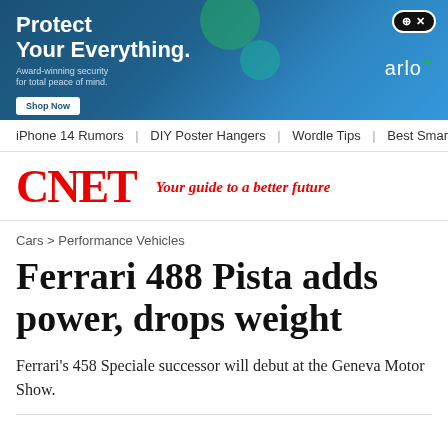[Figure (screenshot): Arlo advertisement banner with dark blue background, showing 'Protect Your Everything.' headline, smart home security devices, Arlo logo, and Shop Now button]
iPhone 14 Rumors  |  DIY Poster Hangers  |  Wordle Tips  |  Best Smart Th
[Figure (logo): CNET logo in red bold serif font with tagline 'Your guide to a better future' in red italic]
Cars > Performance Vehicles
Ferrari 488 Pista adds power, drops weight
Ferrari's 458 Speciale successor will debut at the Geneva Motor Show.